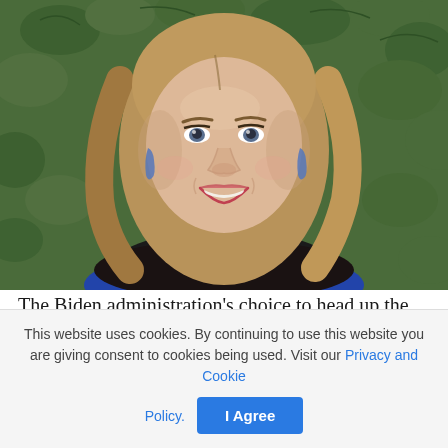[Figure (photo): Headshot of a woman with shoulder-length blonde/brown hair, smiling, wearing a blue floral patterned top with a dark undershirt and blue drop earrings, against a green leafy background.]
The Biden administration's choice to head up the Environmental Protection Agency's office of air and radiation faced sharp
This website uses cookies. By continuing to use this website you are giving consent to cookies being used. Visit our Privacy and Cookie Policy.